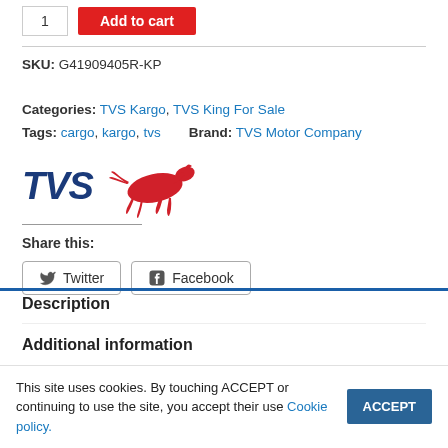SKU: G41909405R-KP   Categories: TVS Kargo, TVS King For Sale
Tags: cargo, kargo, tvs   Brand: TVS Motor Company
[Figure (logo): TVS Motor Company logo with bold dark blue italic TVS text and red running horse graphic]
Share this:
Twitter  Facebook
Description
Additional information
This site uses cookies. By touching ACCEPT or continuing to use the site, you accept their use Cookie policy.